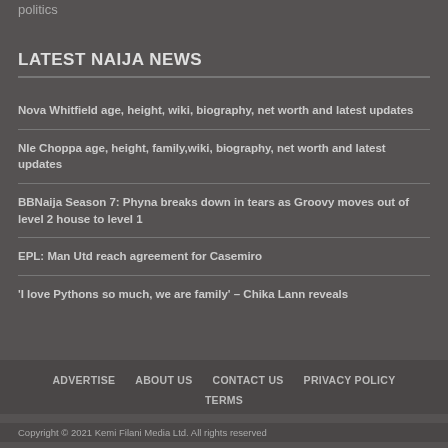politics
LATEST NAIJA NEWS
Nova Whitfield age, height, wiki, biography, net worth and latest updates
Nle Choppa age, height, family,wiki, biography, net worth and latest updates
BBNaija Season 7: Phyna breaks down in tears as Groovy moves out of level 2 house to level 1
EPL: Man Utd reach agreement for Casemiro
'I love Pythons so much, we are family' – Chika Lann reveals
ADVERTISE   ABOUT US   CONTACT US   PRIVACY POLICY   TERMS
Copyright © 2021 Kemi Filani Media Ltd. All rights reserved